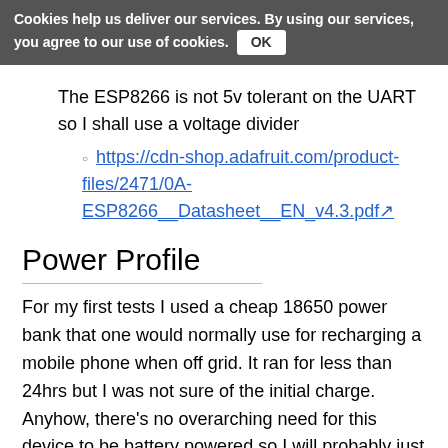Cookies help us deliver our services. By using our services, you agree to our use of cookies. OK
The ESP8266 is not 5v tolerant on the UART so I shall use a voltage divider
https://cdn-shop.adafruit.com/product-files/2471/0A-ESP8266__Datasheet__EN_v4.3.pdf
Power Profile
For my first tests I used a cheap 18650 power bank that one would normally use for recharging a mobile phone when off grid. It ran for less than 24hrs but I was not sure of the initial charge. Anyhow, there's no overarching need for this device to be battery powered so I will probably just run it from a spare mains phone charger but it has got me thinking about the power usage so I'm going to learn a little about that:-
I'd like a generic current logger that I can attach to